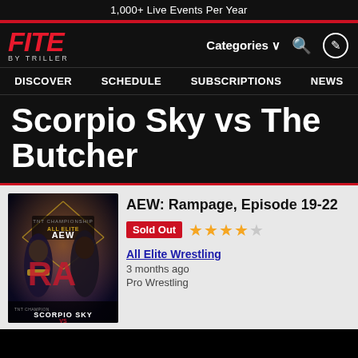1,000+ Live Events Per Year
[Figure (logo): FITE by Triller logo in red italic bold text]
Categories
DISCOVER  SCHEDULE  SUBSCRIPTIONS  NEWS
Scorpio Sky vs The Butcher
[Figure (photo): AEW Rampage event poster showing two wrestlers, TNT Championship, All Elite Wrestling branding, Scorpio Sky text at bottom]
AEW: Rampage, Episode 19-22
Sold Out
All Elite Wrestling
3 months ago
Pro Wrestling